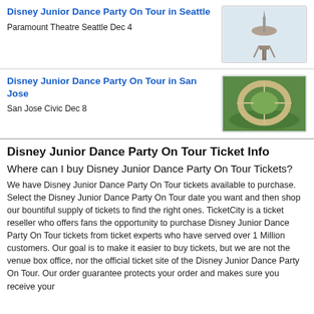Disney Junior Dance Party On Tour in Seattle
Paramount Theatre Seattle Dec 4
[Figure (photo): Space Needle landmark in Seattle against a light background]
Disney Junior Dance Party On Tour in San Jose
San Jose Civic Dec 8
[Figure (photo): Aerial view of Apple Park circular building in Cupertino/San Jose area]
Disney Junior Dance Party On Tour Ticket Info
Where can I buy Disney Junior Dance Party On Tour Tickets?
We have Disney Junior Dance Party On Tour tickets available to purchase. Select the Disney Junior Dance Party On Tour date you want and then shop our bountiful supply of tickets to find the right ones. TicketCity is a ticket reseller who offers fans the opportunity to purchase Disney Junior Dance Party On Tour tickets from ticket experts who have served over 1 Million customers. Our goal is to make it easier to buy tickets, but we are not the venue box office, nor the official ticket site of the Disney Junior Dance Party On Tour. Our order guarantee protects your order and makes sure you receive your